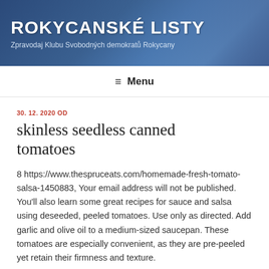ROKYCANSKÉ LISTY
Zpravodaj Klubu Svobodných demokratů Rokycany
≡ Menu
30. 12. 2020 OD
skinless seedless canned tomatoes
8 https://www.thespruceats.com/homemade-fresh-tomato-salsa-1450883, Your email address will not be published. You'll also learn some great recipes for sauce and salsa using deseeded, peeled tomatoes. Use only as directed. Add garlic and olive oil to a medium-sized saucepan. These tomatoes are especially convenient, as they are pre-peeled yet retain their firmness and texture.